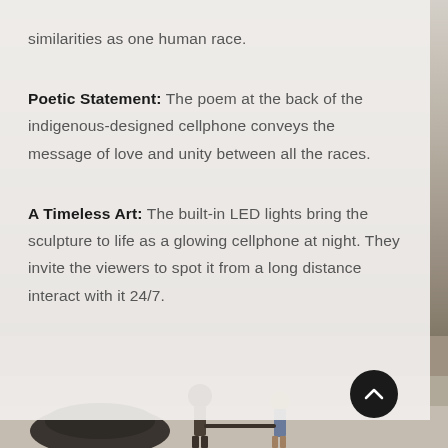similarities as one human race.
Poetic Statement: The poem at the back of the indigenous-designed cellphone conveys the message of love and unity between all the races.
A Timeless Art: The built-in LED lights bring the sculpture to life as a glowing cellphone at night. They invite the viewers to spot it from a long distance interact with it 24/7.
[Figure (photo): Outdoor plaza scene with people walking, concrete sculptures, and urban architecture in the background. Bottom strip of image visible.]